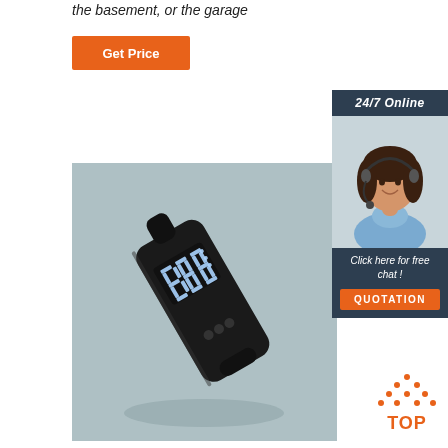the basement, or the garage
[Figure (other): Orange 'Get Price' button]
[Figure (other): 24/7 Online customer support sidebar with woman wearing headset, 'Click here for free chat!' text, and orange QUOTATION button]
[Figure (photo): Black handheld digital breathalyzer device with LED display on light blue-grey background]
[Figure (other): Orange 'TOP' icon with dotted triangle above text]